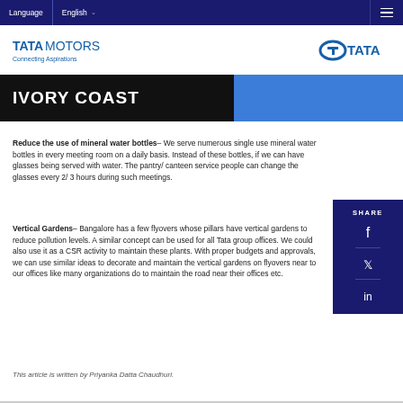Language | English ☰
[Figure (logo): Tata Motors logo with 'Connecting Aspirations' tagline and Tata group logo on right]
IVORY COAST
Reduce the use of mineral water bottles– We serve numerous single use mineral water bottles in every meeting room on a daily basis. Instead of these bottles, if we can have glasses being served with water. The pantry/ canteen service people can change the glasses every 2/ 3 hours during such meetings.
Vertical Gardens– Bangalore has a few flyovers whose pillars have vertical gardens to reduce pollution levels. A similar concept can be used for all Tata group offices. We could also use it as a CSR activity to maintain these plants. With proper budgets and approvals, we can use similar ideas to decorate and maintain the vertical gardens on flyovers near to our offices like many organizations do to maintain the road near their offices etc.
This article is written by Priyanka Datta Chaudhuri.